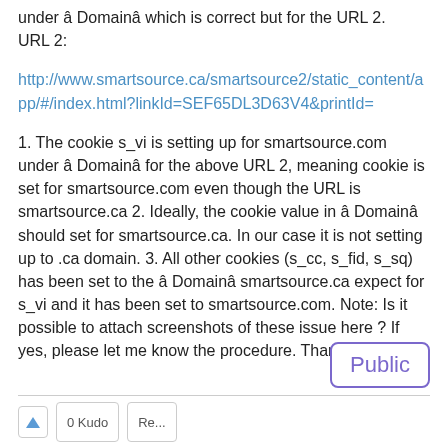under â Domainâ which is correct but for the URL 2. URL 2: http://www.smartsource.ca/smartsource2/static_content/app/#/index.html?linkId=SEF65DL3D63V4&printId= 1. The cookie s_vi is setting up for smartsource.com under â Domainâ for the above URL 2, meaning cookie is set for smartsource.com even though the URL is smartsource.ca 2. Ideally, the cookie value in â Domainâ should set for smartsource.ca. In our case it is not setting up to .ca domain. 3. All other cookies (s_cc, s_fid, s_sq) has been set to the â Domainâ smartsource.ca expect for s_vi and it has been set to smartsource.com. Note: Is it possible to attach screenshots of these issue here ? If yes, please let me know the procedure. Thanks, Vicky